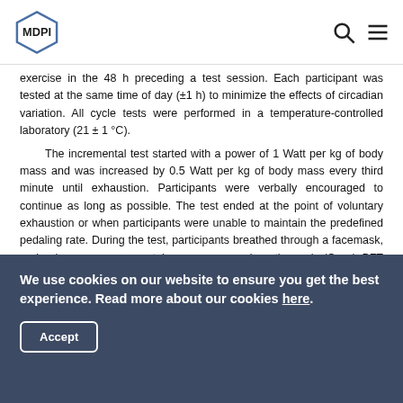MDPI
exercise in the 48 h preceding a test session. Each participant was tested at the same time of day (±1 h) to minimize the effects of circadian variation. All cycle tests were performed in a temperature-controlled laboratory (21 ± 1 °C).
The incremental test started with a power of 1 Watt per kg of body mass and was increased by 0.5 Watt per kg of body mass every third minute until exhaustion. Participants were verbally encouraged to continue as long as possible. The test ended at the point of voluntary exhaustion or when participants were unable to maintain the predefined pedaling rate. During the test, participants breathed through a facemask, and pulmonary oxygen uptake was measured continuously (Quark PFT ergo,
We use cookies on our website to ensure you get the best experience. Read more about our cookies here.
Accept